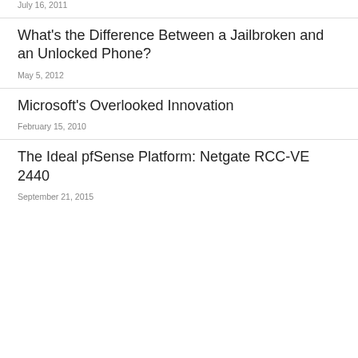July 16, 2011
What's the Difference Between a Jailbroken and an Unlocked Phone?
May 5, 2012
Microsoft's Overlooked Innovation
February 15, 2010
The Ideal pfSense Platform: Netgate RCC-VE 2440
September 21, 2015